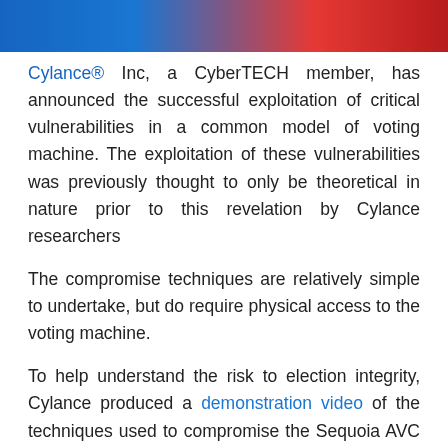[Figure (photo): Banner image showing blue and red gradient colors at the top of the page]
Cylance® Inc, a CyberTECH member, has announced the successful exploitation of critical vulnerabilities in a common model of voting machine. The exploitation of these vulnerabilities was previously thought to only be theoretical in nature prior to this revelation by Cylance researchers
The compromise techniques are relatively simple to undertake, but do require physical access to the voting machine.
To help understand the risk to election integrity, Cylance produced a demonstration video of the techniques used to compromise the Sequoia AVC Edge Mk1 voting machine.